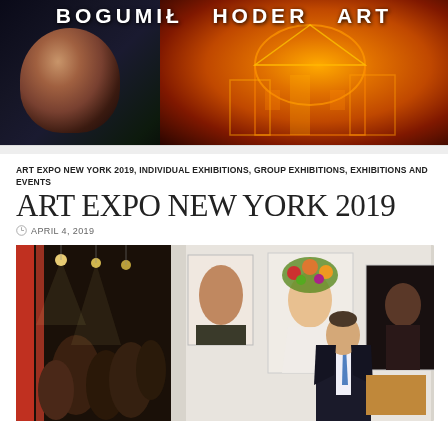[Figure (photo): Header banner for Bogumił Hoder Art website showing artist's face on left in dark tones and illuminated European buildings on right in orange/amber tones, with site title text overlaid]
ART EXPO NEW YORK 2019, INDIVIDUAL EXHIBITIONS, GROUP EXHIBITIONS, EXHIBITIONS AND EVENTS
ART EXPO NEW YORK 2019
APRIL 4, 2019
[Figure (photo): Photograph of an art expo/gallery event showing a man in a dark suit standing in front of paintings on a white wall, with a crowded exhibition hall visible in the background]